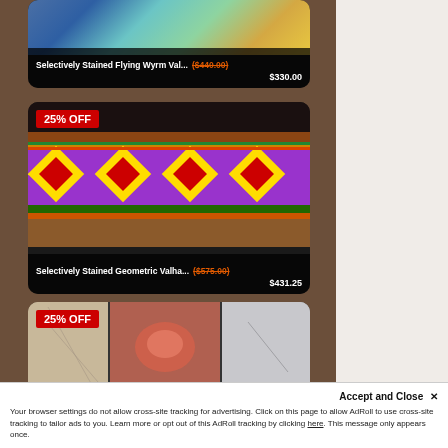[Figure (photo): Product card 1: Selectively Stained Flying Wyrm item with blue/teal artwork, 25% off badge not shown, truncated title with original price ($440.00) struck through and sale price $330.00]
Selectively Stained Flying Wyrm Val... ($440.00) $330.00
[Figure (photo): Product card 2: Selectively Stained Geometric Valhalla item showing colorful geometric/diamond pattern artwork with 25% OFF badge, original price ($575.00) struck through, sale price $431.25]
Selectively Stained Geometric Valha... ($575.00) $431.25
[Figure (photo): Product card 3: Mixed media artwork item with 25% OFF badge, showing carved/embossed panels in beige, pink/red, and silver tones]
Accept and Close ×
Your browser settings do not allow cross-site tracking for advertising. Click on this page to allow AdRoll to use cross-site tracking to tailor ads to you. Learn more or opt out of this AdRoll tracking by clicking here. This message only appears once.